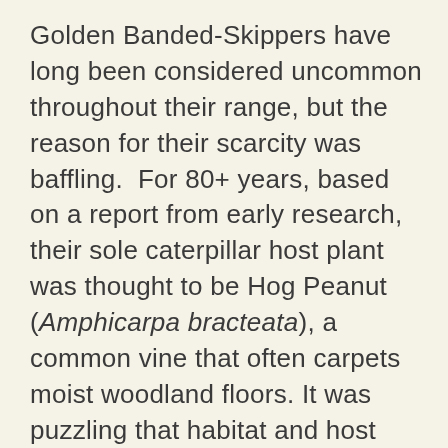Golden Banded-Skippers have long been considered uncommon throughout their range, but the reason for their scarcity was baffling.  For 80+ years, based on a report from early research, their sole caterpillar host plant was thought to be Hog Peanut (Amphicarpa bracteata), a common vine that often carpets moist woodland floors. It was puzzling that habitat and host plant were abundant, yet the butterfly was usually absent. We now know that the original plant ID was incorrect—the host plant was actually Thicket Bean (Phaseolus polystachios), a vine that sometimes grows in the company of Hog Peanut, but not